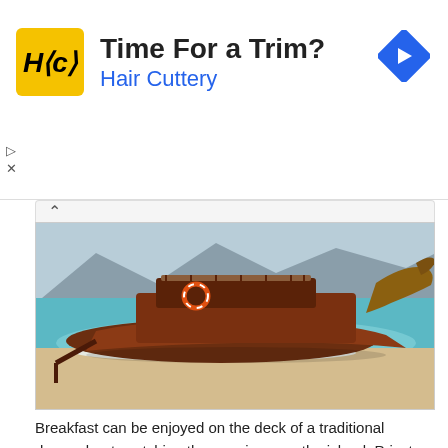[Figure (screenshot): Advertisement banner for Hair Cuttery. Shows HC logo in yellow square, title 'Time For a Trim?', subtitle 'Hair Cuttery' in blue, and a blue navigation diamond icon on the right. Small play and X controls on the left below the ad.]
[Figure (photo): A traditional wooden dragon boat with an ornate dragon head figurehead beached on white sand with turquoise ocean water and mountains in the background under a cloudy sky.]
Breakfast can be enjoyed on the deck of a traditional dragon boat, watching the sun rise over the island. Private dining can be arranged on the roof of the restaurant, surrounded by